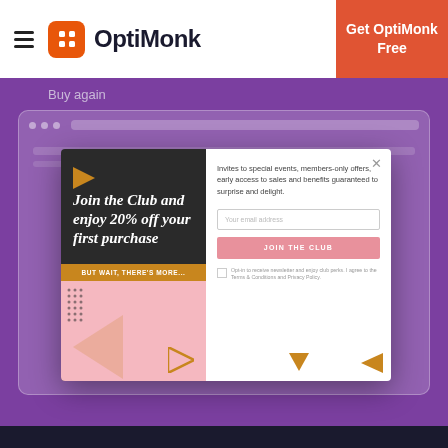OptiMonk — Get OptiMonk Free
Buy again
[Figure (screenshot): Browser mockup showing OptiMonk popup: 'Join the Club and enjoy 20% off your first purchase' with email signup form on the right side]